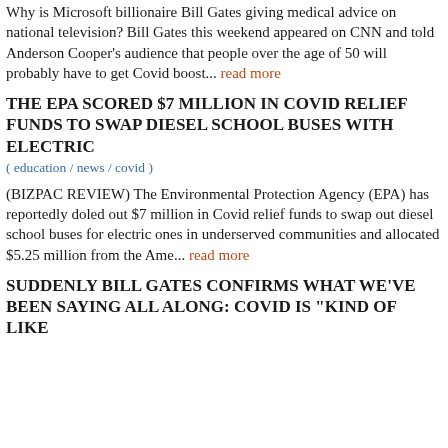Why is Microsoft billionaire Bill Gates giving medical advice on national television? Bill Gates this weekend appeared on CNN and told Anderson Cooper's audience that people over the age of 50 will probably have to get Covid boost... read more
THE EPA SCORED $7 MILLION IN COVID RELIEF FUNDS TO SWAP DIESEL SCHOOL BUSES WITH ELECTRIC
( education / news / covid )
(BIZPAC REVIEW) The Environmental Protection Agency (EPA) has reportedly doled out $7 million in Covid relief funds to swap out diesel school buses for electric ones in underserved communities and allocated $5.25 million from the Ame... read more
SUDDENLY BILL GATES CONFIRMS WHAT WE'VE BEEN SAYING ALL ALONG: COVID IS "KIND OF LIKE